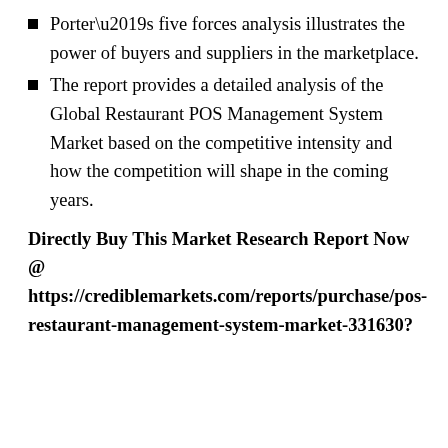Porter’s five forces analysis illustrates the power of buyers and suppliers in the marketplace.
The report provides a detailed analysis of the Global Restaurant POS Management System Market based on the competitive intensity and how the competition will shape in the coming years.
Directly Buy This Market Research Report Now @ https://crediblemarkets.com/reports/purchase/pos-restaurant-management-system-market-331630?